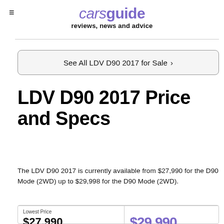carsguide reviews, news and advice
See All LDV D90 2017 for Sale >
LDV D90 2017 Price and Specs
The LDV D90 2017 is currently available from $27,990 for the D90 Mode (2WD) up to $29,998 for the D90 Mode (2WD).
| Lowest Price |  |
| --- | --- |
| $27,990 | $29,990 |